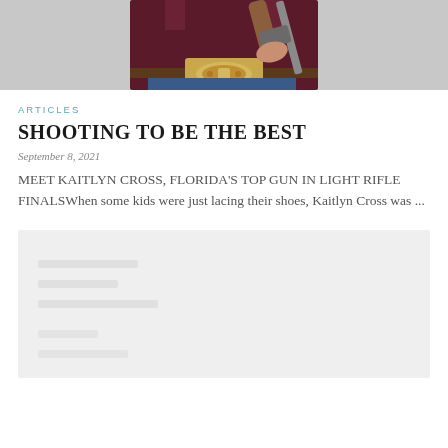[Figure (photo): Person in dark maroon shirt holding a rifle, wearing jeans with a large decorative belt buckle, standing against a grey wall. Only torso and hands visible.]
ARTICLES
SHOOTING TO BE THE BEST
September 8, 2021
MEET KAITLYN CROSS, FLORIDA'S TOP GUN IN LIGHT RIFLE FINALSWhen some kids were just lacing their shoes, Kaitlyn Cross was ...
[Figure (photo): Light grey placeholder image, appears to be a partially loaded or greyed-out photo.]